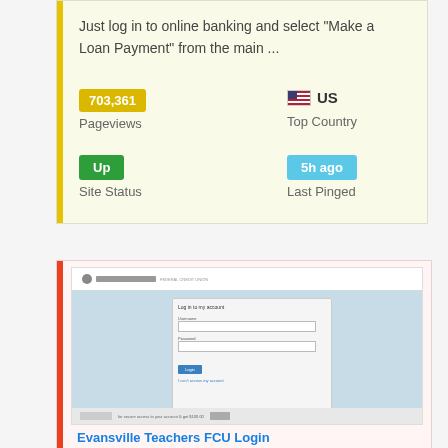Just log in to online banking and select "Make a Loan Payment" from the main ...
703,361
Pageviews
US
Top Country
Up
Site Status
5h ago
Last Pinged
[Figure (screenshot): Screenshot of Evansville Teachers FCU login page showing username and password fields with a Login button]
Evansville Teachers FCU Login